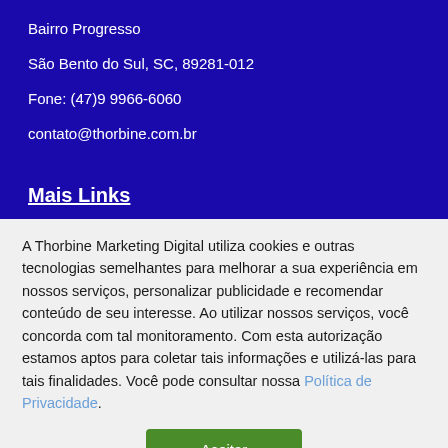Bairro Progresso
São Bento do Sul, SC, 89281-012
Fone: (47)9 9966-6060
contato@thorbine.com.br
Mais Links
A Thorbine Marketing Digital utiliza cookies e outras tecnologias semelhantes para melhorar a sua experiência em nossos serviços, personalizar publicidade e recomendar conteúdo de seu interesse. Ao utilizar nossos serviços, você concorda com tal monitoramento. Com esta autorização estamos aptos para coletar tais informações e utilizá-las para tais finalidades. Você pode consultar nossa Política de Privacidade.
Aceitar